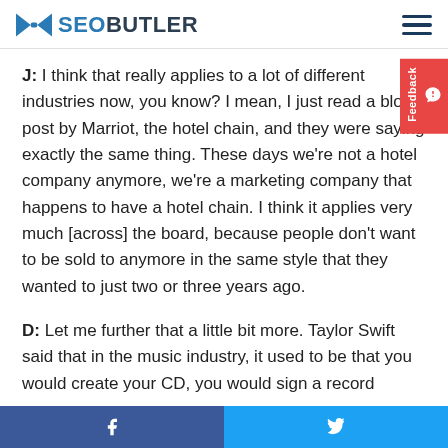SEOBUTLER
J: I think that really applies to a lot of different industries now, you know? I mean, I just read a blog post by Marriot, the hotel chain, and they were saying exactly the same thing. These days we're not a hotel company anymore, we're a marketing company that happens to have a hotel chain. I think it applies very much [across] the board, because people don't want to be sold to anymore in the same style that they wanted to just two or three years ago.
D: Let me further that a little bit more. Taylor Swift said that in the music industry, it used to be that you would create your CD, you would sign a record
f  (twitter bird icon)